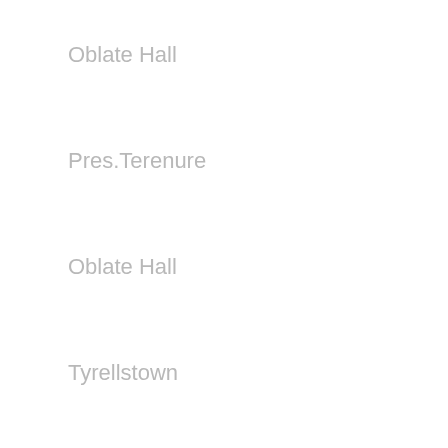Oblate Hall
Pres.Terenure
Oblate Hall
Tyrellstown
Sun 18th
12.40pm
12.45pm
3.30pm
5.00pm